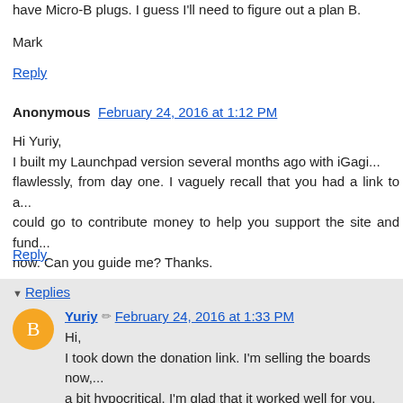have Micro-B plugs. I guess I'll need to figure out a plan B.
Mark
Reply
Anonymous  February 24, 2016 at 1:12 PM
Hi Yuriy,
I built my Launchpad version several months ago with iGagi... flawlessly, from day one. I vaguely recall that you had a link to a... could go to contribute money to help you support the site and fund... now. Can you guide me? Thanks.
Reply
Replies
Yuriy  February 24, 2016 at 1:33 PM
Hi,
I took down the donation link. I'm selling the boards now,... a bit hypocritical. I'm glad that it worked well for you, thou...
Thank you
Yuriy